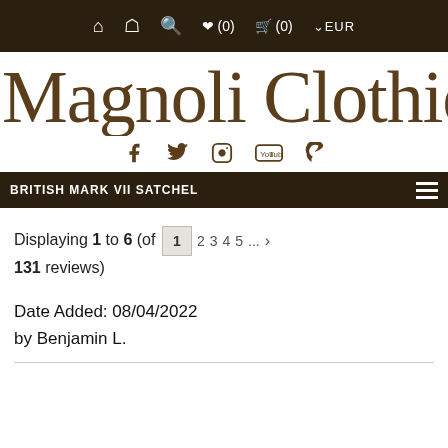Navigation bar with home, account, search, wishlist (0), cart (0), EUR icons
Magnoli Clothiers
[Figure (infographic): Social media icons: Facebook, Twitter, Instagram, YouTube, Pinterest in brown color]
BRITISH MARK VII SATCHEL
Displaying 1 to 6 (of 131 reviews)
Date Added: 08/04/2022 by Benjamin L.